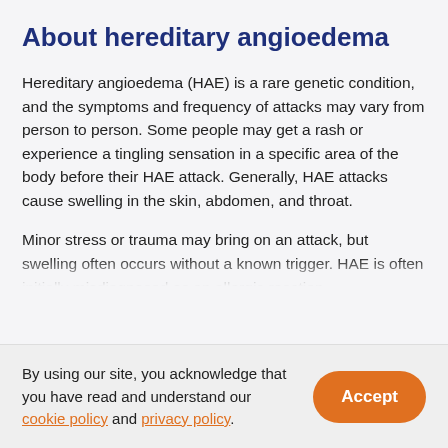About hereditary angioedema
Hereditary angioedema (HAE) is a rare genetic condition, and the symptoms and frequency of attacks may vary from person to person. Some people may get a rash or experience a tingling sensation in a specific area of the body before their HAE attack. Generally, HAE attacks cause swelling in the skin, abdomen, and throat.
Minor stress or trauma may bring on an attack, but swelling often occurs without a known trigger. HAE is often initially misdiagnosed as an allergic reaction
By using our site, you acknowledge that you have read and understand our cookie policy and privacy policy.